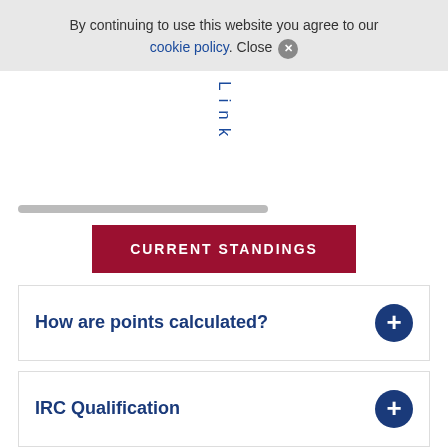By continuing to use this website you agree to our cookie policy. Close ✕
Link
CURRENT STANDINGS
How are points calculated?
IRC Qualification